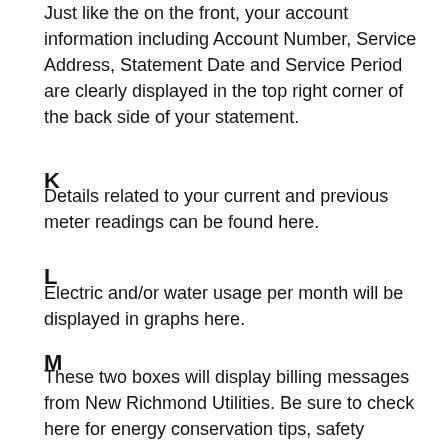Just like the on the front, your account information including Account Number, Service Address, Statement Date and Service Period are clearly displayed in the top right corner of the back side of your statement.
K
Details related to your current and previous meter readings can be found here.
L
Electric and/or water usage per month will be displayed in graphs here.
M
These two boxes will display billing messages from New Richmond Utilities. Be sure to check here for energy conservation tips, safety information, updates, and other useful information.
N